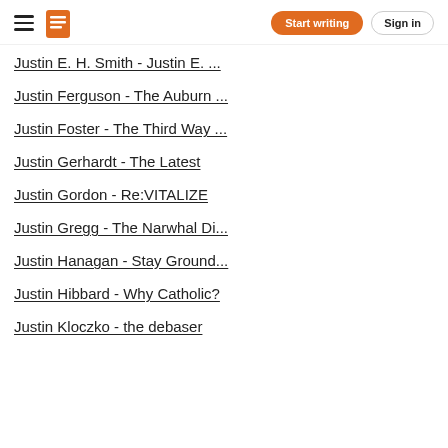Start writing | Sign in
Justin E. H. Smith - Justin E. ...
Justin Ferguson - The Auburn ...
Justin Foster - The Third Way ...
Justin Gerhardt - The Latest
Justin Gordon - Re:VITALIZE
Justin Gregg - The Narwhal Di...
Justin Hanagan - Stay Ground...
Justin Hibbard - Why Catholic?
Justin Kloczko - the debaser